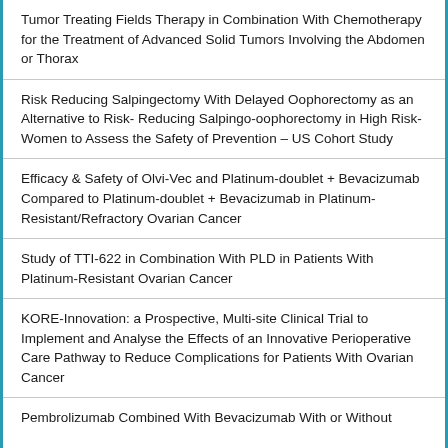Tumor Treating Fields Therapy in Combination With Chemotherapy for the Treatment of Advanced Solid Tumors Involving the Abdomen or Thorax
Risk Reducing Salpingectomy With Delayed Oophorectomy as an Alternative to Risk- Reducing Salpingo-oophorectomy in High Risk-Women to Assess the Safety of Prevention – US Cohort Study
Efficacy & Safety of Olvi-Vec and Platinum-doublet + Bevacizumab Compared to Platinum-doublet + Bevacizumab in Platinum-Resistant/Refractory Ovarian Cancer
Study of TTI-622 in Combination With PLD in Patients With Platinum-Resistant Ovarian Cancer
KORE-Innovation: a Prospective, Multi-site Clinical Trial to Implement and Analyse the Effects of an Innovative Perioperative Care Pathway to Reduce Complications for Patients With Ovarian Cancer
Pembrolizumab Combined With Bevacizumab With or Without